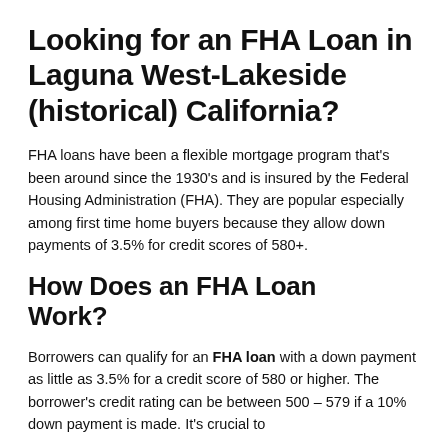Looking for an FHA Loan in Laguna West-Lakeside (historical) California?
FHA loans have been a flexible mortgage program that's been around since the 1930's and is insured by the Federal Housing Administration (FHA). They are popular especially among first time home buyers because they allow down payments of 3.5% for credit scores of 580+.
How Does an FHA Loan Work?
Borrowers can qualify for an FHA loan with a down payment as little as 3.5% for a credit score of 580 or higher. The borrower's credit rating can be between 500 – 579 if a 10% down payment is made. It's crucial to